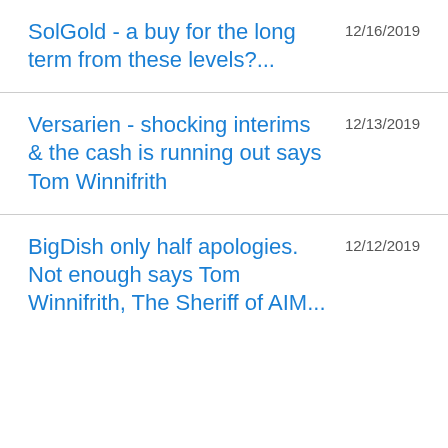SolGold - a buy for the long term from these levels?...
Versarien - shocking interims & the cash is running out says Tom Winnifrith
BigDish only half apologies. Not enough says Tom Winnifrith, The Sheriff of AIM...